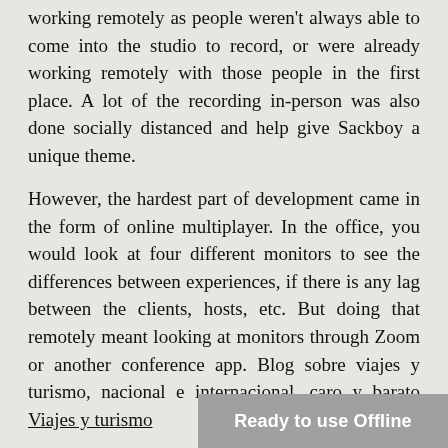working remotely as people weren't always able to come into the studio to record, or were already working remotely with those people in the first place. A lot of the recording in-person was also done socially distanced and help give Sackboy a unique theme.
However, the hardest part of development came in the form of online multiplayer. In the office, you would look at four different monitors to see the differences between experiences, if there is any lag between the clients, hosts, etc. But doing that remotely meant looking at monitors through Zoom or another conference app. Blog sobre viajes y turismo, nacional e internacional, caro y barato Viajes y turismo
You can watch the dev diary talking about Sackboy: A Big Adventure's development below: